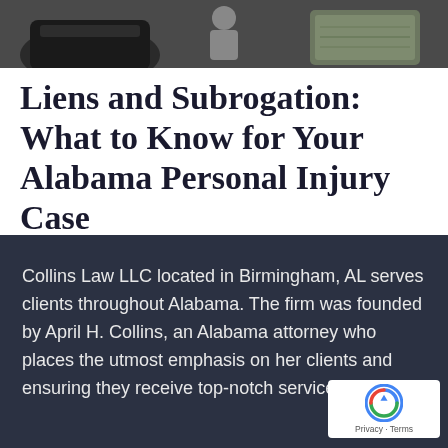[Figure (photo): Partial top image showing what appears to be a person and money/cash on a dark background, cropped at the top of the page]
Liens and Subrogation: What to Know for Your Alabama Personal Injury Case
Read More »
1  2  3  …  5
Collins Law LLC located in Birmingham, AL serves clients throughout Alabama. The firm was founded by April H. Collins, an Alabama attorney who places the utmost emphasis on her clients and ensuring they receive top-notch service.
[Figure (logo): reCAPTCHA badge with Google reCAPTCHA logo and Privacy · Terms text]